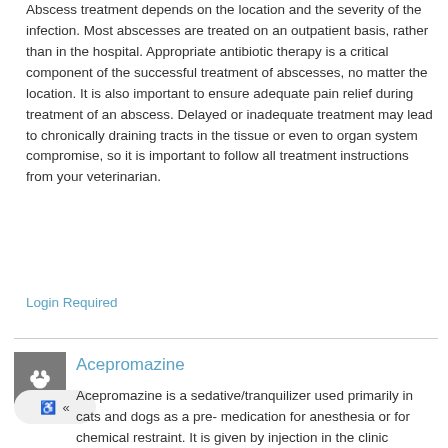Abscess treatment depends on the location and the severity of the infection. Most abscesses are treated on an outpatient basis, rather than in the hospital. Appropriate antibiotic therapy is a critical component of the successful treatment of abscesses, no matter the location. It is also important to ensure adequate pain relief during treatment of an abscess. Delayed or inadequate treatment may lead to chronically draining tracts in the tissue or even to organ system compromise, so it is important to follow all treatment instructions from your veterinarian.
Login Required
Acepromazine
Acepromazine is a sedative/tranquilizer used primarily in cats and dogs as a pre-medication for anesthesia or for chemical restraint. It is given by injection in the clinic